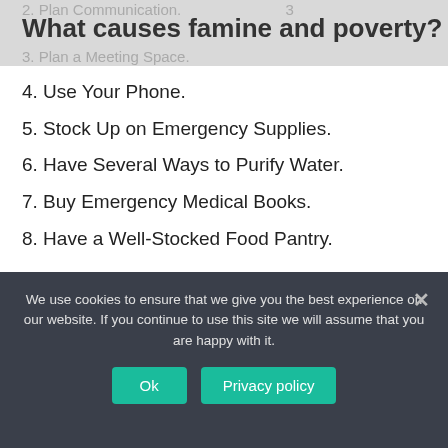2. Plan Communication. What causes...
What causes famine and poverty?
3. Plan a Meeting Space.
4. Use Your Phone.
5. Stock Up on Emergency Supplies.
6. Have Several Ways to Purify Water.
7. Buy Emergency Medical Books.
8. Have a Well-Stocked Food Pantry.
How can we be prepared for the effects impacts of disasters?
We use cookies to ensure that we give you the best experience on our website. If you continue to use this site we will assume that you are happy with it.